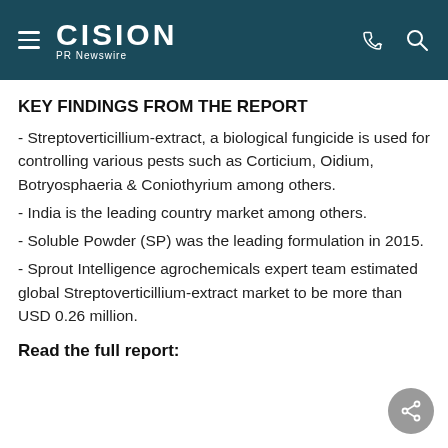CISION PR Newswire
KEY FINDINGS FROM THE REPORT
- Streptoverticillium-extract, a biological fungicide is used for controlling various pests such as Corticium, Oidium, Botryosphaeria & Coniothyrium among others.
- India is the leading country market among others.
- Soluble Powder (SP) was the leading formulation in 2015.
- Sprout Intelligence agrochemicals expert team estimated global Streptoverticillium-extract market to be more than USD 0.26 million.
Read the full report: